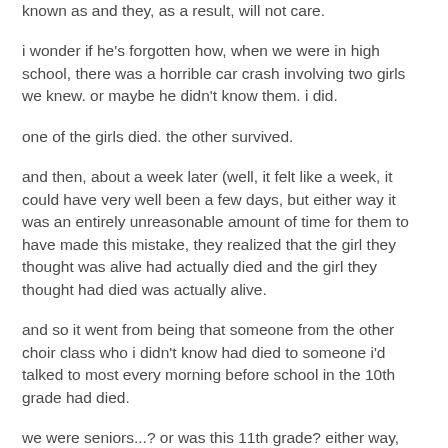known as and they, as a result, will not care.
i wonder if he's forgotten how, when we were in high school, there was a horrible car crash involving two girls we knew. or maybe he didn't know them. i did.
one of the girls died. the other survived.
and then, about a week later (well, it felt like a week, it could have very well been a few days, but either way it was an entirely unreasonable amount of time for them to have made this mistake, they realized that the girl they thought was alive had actually died and the girl they thought had died was actually alive.
and so it went from being that someone from the other choir class who i didn't know had died to someone i'd talked to most every morning before school in the 10th grade had died.
we were seniors...? or was this 11th grade? either way, we'd drifted apart. i'd not spoken to her in awhile. but this was someone who was there when another friend came in and